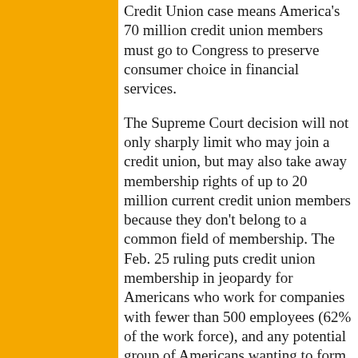Credit Union case means America's 70 million credit union members must go to Congress to preserve consumer choice in financial services.
The Supreme Court decision will not only sharply limit who may join a credit union, but may also take away membership rights of up to 20 million current credit union members because they don't belong to a common field of membership. The Feb. 25 ruling puts credit union membership in jeopardy for Americans who work for companies with fewer than 500 employees (62% of the work force), and any potential group of Americans wanting to form its own credit union.
"This ruling strengthens our resolve to seek redress in